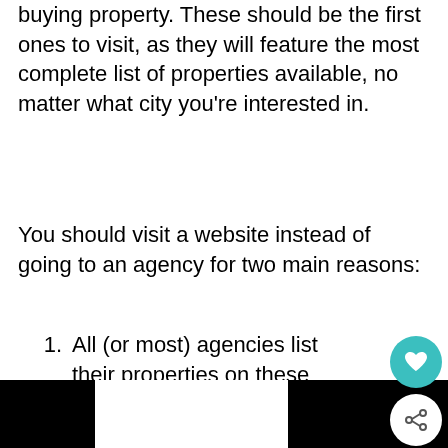buying property. These should be the first ones to visit, as they will feature the most complete list of properties available, no matter what city you're interested in.
You should visit a website instead of going to an agency for two main reasons:
All (or most) agencies list their properties on these websites
Agencies don't work together and don't share properties, so if you only choose one, you might miss out on some amazing deals.